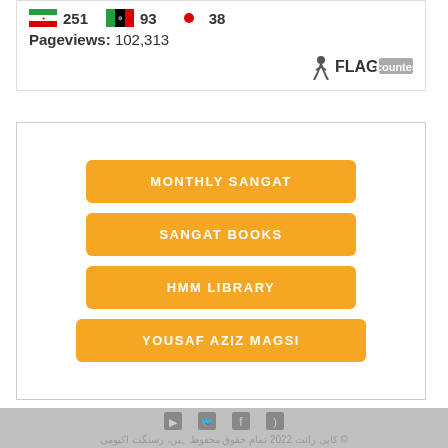[Figure (infographic): Flag counter widget showing Iran flag 251, Afghanistan flag 93, Japan flag 38. Pageviews: 102,313. FLAG counter logo at bottom right.]
[Figure (infographic): Navigation links box with four orange buttons: MONTHLY SANGAT, SANGAT BOOKS, HMM LIBRARY, YOUSAF AZIZ MAGSI]
© کاپی رائت 2022 تمام حقوق محفوظ ہیں، رسنگت اکیومی